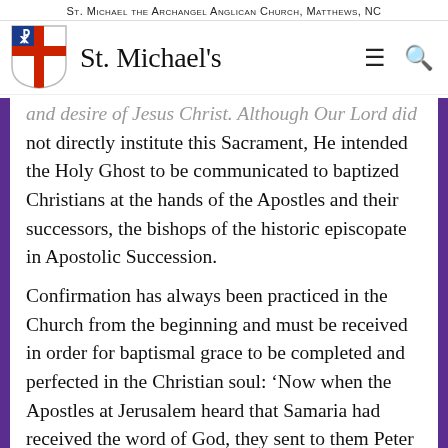St. Michael the Archangel Anglican Church, Matthews, NC
[Figure (logo): St. Michael's Anglican Church shield logo with Chi-Rho symbol and red cross on white background, with blue canton]
St. Michael's
and desire of Jesus Christ. Although Our Lord did not directly institute this Sacrament, He intended the Holy Ghost to be communicated to baptized Christians at the hands of the Apostles and their successors, the bishops of the historic episcopate in Apostolic Succession.
Confirmation has always been practiced in the Church from the beginning and must be received in order for baptismal grace to be completed and perfected in the Christian soul: ‘Now when the Apostles at Jerusalem heard that Samaria had received the word of God, they sent to them Peter and John, who came down and prayed for them that they might receive the Holy Spirit; for He had